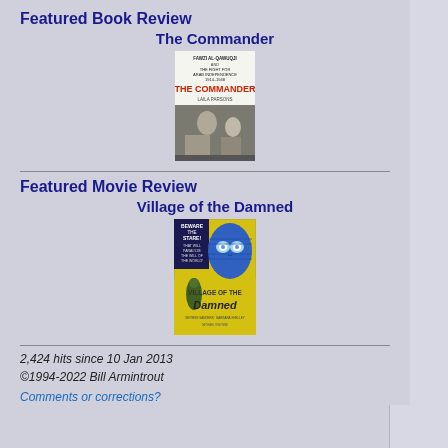Featured Book Review
The Commander
[Figure (photo): Book cover of 'The Commander' by Laila Parsons, showing text about Fawzi al-Qawuqji and the fight for Arab independence 1914-1948, with a black and white photograph at the bottom]
Featured Movie Review
Village of the Damned
[Figure (photo): Movie poster for 'Village of the Damned' featuring a blue-faced alien child with glowing eyes on a yellow background with text 'Beware the Stare That Will Paralyze the Will of the World!']
2,424 hits since 10 Jan 2013
©1994-2022 Bill Armintrout
Comments or corrections?